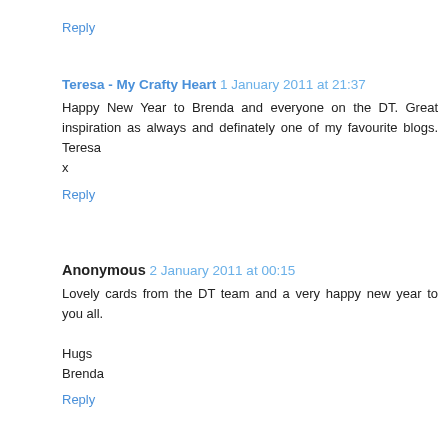Reply
Teresa - My Crafty Heart  1 January 2011 at 21:37
Happy New Year to Brenda and everyone on the DT. Great inspiration as always and definately one of my favourite blogs. Teresa
x
Reply
Anonymous  2 January 2011 at 00:15
Lovely cards from the DT team and a very happy new year to you all.

Hugs
Brenda
Reply